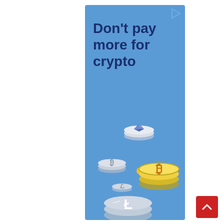[Figure (illustration): Cryptocurrency advertisement banner with blue background. Text reads 'Don't pay more for crypto'. Bottom portion shows illustrated 3D crypto coins including Bitcoin (BTC), Ethereum (ETH), and Litecoin (LTC) floating/scattered. A small play-button style ad indicator icon is in the top right corner of the banner.]
[Figure (illustration): Red square scroll-to-top button with white upward chevron arrow, positioned in bottom right of page.]